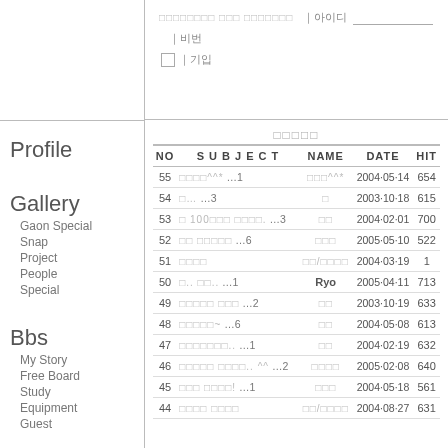아이디 | 비번 | 기입 (login form area)
Profile
Gallery
Gaon Special
Snap
Project
People
Special
Bbs
My Story
Free Board
Study
Equipment
Guest
| NO | SUBJECT | NAME | DATE | HIT |
| --- | --- | --- | --- | --- |
| 55 | □□□□^^* …1 | □□□^^* | 2004·05·14 | 654 |
| 54 | □… …3 | □ | 2003·10·18 | 615 |
| 53 | □ 100□□□ □□□□. …3 | □□ | 2004·02·01 | 700 |
| 52 | □□ □□□□□ …6 | □□□ | 2005·05·10 | 522 |
| 51 | □□□□ | □□/□□□□ | 2004·03·19 | 1 |
| 50 | □.. □□.. …1 | Ryo | 2005·04·11 | 713 |
| 49 | □□□□□ □□□ …2 | □□ | 2003·10·19 | 633 |
| 48 | □□□□□~ …6 | □□ | 2004·05·08 | 613 |
| 47 | □□□□□□□.. …1 | □□ | 2004·02·19 | 632 |
| 46 | □□□□□ □□□□.. ^^ …2 | □□□□ | 2005·02·08 | 640 |
| 45 | □□□ □□□□! …1 | □□□ | 2004·05·18 | 561 |
| 44 | □□□□ □□□□ | □□/□□□□ | 2004·08·27 | 631 |